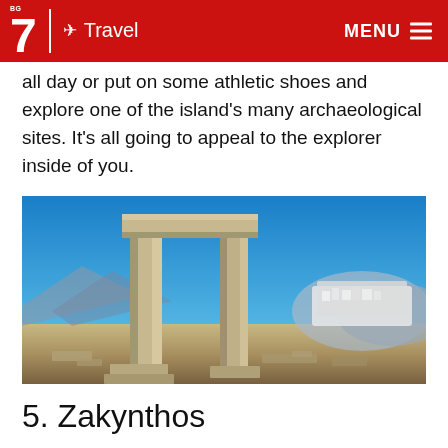BG 7 ✈ Travel  MENU
all day or put on some athletic shoes and explore one of the island's many archaeological sites. It's all going to appeal to the explorer inside of you.
[Figure (photo): Ancient Greek stone portal/doorway ruins (the Portara of Naxos) against a bright blue sky, with a white hillside town and mountains in the background]
5. Zakynthos